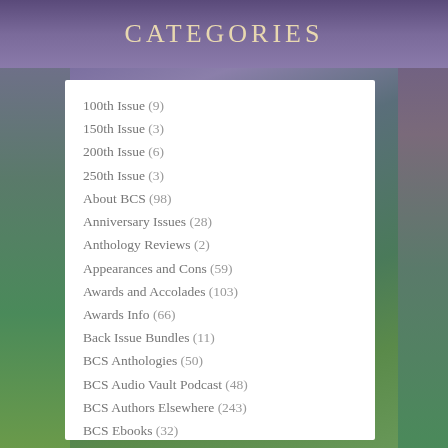Categories
100th Issue (9)
150th Issue (3)
200th Issue (6)
250th Issue (3)
About BCS (98)
Anniversary Issues (28)
Anthology Reviews (2)
Appearances and Cons (59)
Awards and Accolades (103)
Awards Info (66)
Back Issue Bundles (11)
BCS Anthologies (50)
BCS Audio Vault Podcast (48)
BCS Authors Elsewhere (243)
BCS Ebooks (32)
BCS in Blogs (41)
BCS News (17)
BCS on Facebook (3)